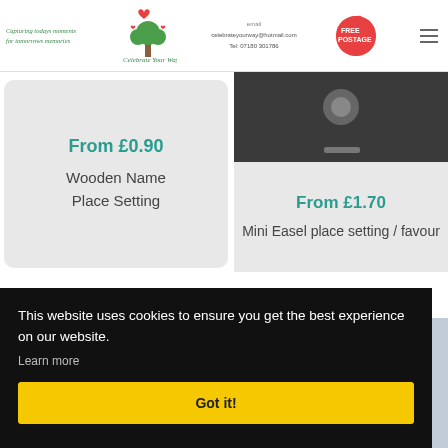Capturing todays moments for tomorrows memories | Celebrate Your Way | email celebrateyourway@hotmail.com Tel: 07180 301786 | FREE POSTAGE
From £0.90
Wooden Name Place Setting
From £1.70
Mini Easel place setting / favour
This website uses cookies to ensure you get the best experience on our website.
Learn more
Got it!